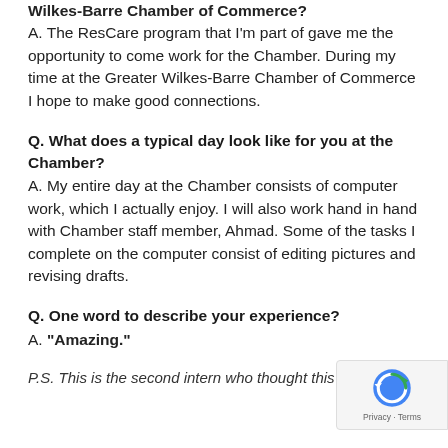Wilkes-Barre Chamber of Commerce? A. The ResCare program that I'm part of gave me the opportunity to come work for the Chamber. During my time at the Greater Wilkes-Barre Chamber of Commerce I hope to make good connections.
Q. What does a typical day look like for you at the Chamber?
A. My entire day at the Chamber consists of computer work, which I actually enjoy. I will also work hand in hand with Chamber staff member, Ahmad. Some of the tasks I complete on the computer consist of editing pictures and revising drafts.
Q. One word to describe your experience?
A. "Amazing."
P.S. This is the second intern who thought this